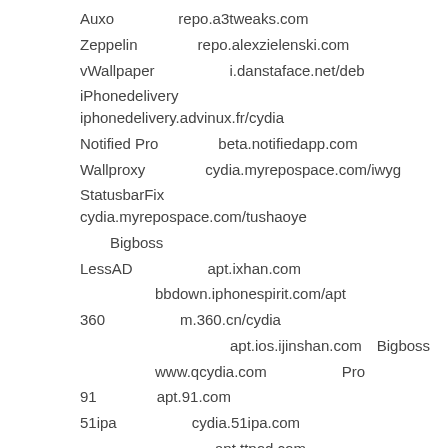Auxo　　　 　repo.a3tweaks.com
Zeppelin　　　　repo.alexzielenski.com
vWallpaper　　　　　i.danstaface.net/deb
iPhonedelivery　　　　iphonedelivery.advinux.fr/cydia
Notified Pro　　　　beta.notifiedapp.com
Wallproxy　　　　cydia.myrepospace.com/iwyg
StatusbarFix　　　　cydia.myrepospace.com/tushaoye
Bigboss
LessAD　　　　　apt.ixhan.com
bbdown.iphonespirit.com/apt
360　　　　　m.360.cn/cydia
apt.ios.ijinshan.com　Bigboss
www.qcydia.com　　　　　Pro
91　　　　apt.91.com
51ipa　　　　　cydia.51ipa.com
apt.ttpod.com
Wifi　　　　　　　　wifi.sdo.com/release/iphone
1　Cydia　　　　　apt.cydiaba.cn